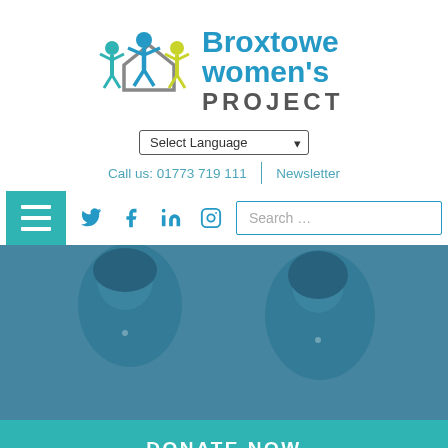[Figure (logo): Broxtowe Women's Project logo with stylized figures in teal, blue, and yellow/green colors]
[Figure (screenshot): Select Language dropdown selector]
Call us: 01773 719 111 | Newsletter
[Figure (screenshot): Navigation bar with hamburger menu icon, social media icons (Twitter, Facebook, LinkedIn, Instagram), and Search input box]
[Figure (photo): Hero image of two women smiling, overlaid with blue-teal color tint]
DONATE NOW
LEAVE THIS SITE NOW